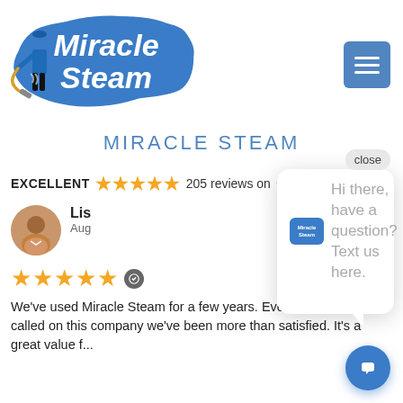[Figure (logo): Miracle Steam logo with a man steam cleaning and blue painted brush stroke background with white bold text]
[Figure (other): Hamburger menu button (three horizontal white lines on blue square background)]
MIRACLE STEAM
EXCELLENT ★★★★★ 205 reviews on Google
[Figure (photo): Circular avatar photo of a person]
Lisa
Aug
★★★★★
We've used Miracle Steam for a few years. Everytime that we've called on this company we've been more than satisfied. It's a great value f...
[Figure (other): Chat popup with Miracle Steam logo icon and message: Hi there, have a question? Text us here.]
close
Hi there, have a question? Text us here.